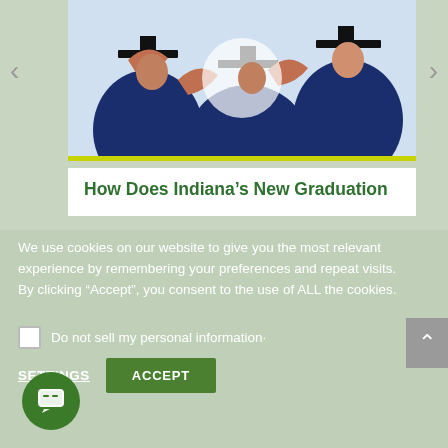[Figure (photo): Graduation photo showing students in blue caps and gowns making hand gestures, shot from below looking up]
How Does Indiana’s New Graduation
We use cookies on our website to give you the most relevant experience by remembering your preferences and repeat visits.
By clicking “Accept”, you consent to the use of ALL the cookies.
Do not sell my personal information·
SETTINGS
ACCEPT